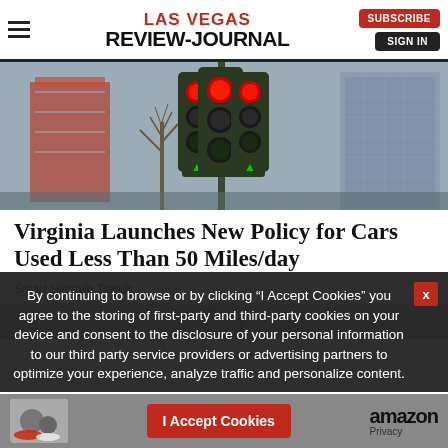LAS VEGAS REVIEW-JOURNAL
[Figure (photo): Multiple green traffic lights with red signals illuminated, mounted on a pole, with urban buildings and a bare tree in the background]
Virginia Launches New Policy for Cars Used Less Than 50 Miles/day
Smart Lifestyle Trends
[Figure (photo): Partial view of a second image, appears to be circular/tunnel-like gray texture]
By continuing to browse or by clicking “I Accept Cookies” you agree to the storing of first-party and third-party cookies on your device and consent to the disclosure of your personal information to our third party service providers or advertising partners to optimize your experience, analyze traffic and personalize content.
I Accept Cookies
amazon Privacy